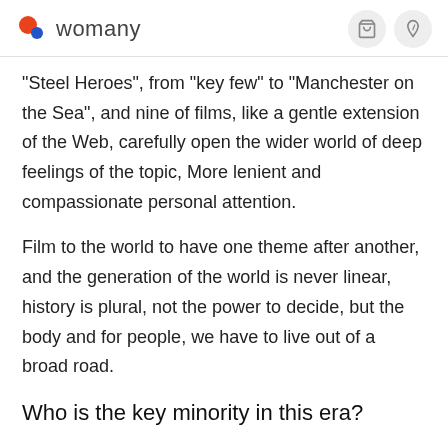womany
"Steel Heroes", from "key few" to "Manchester on the Sea", and nine of films, like a gentle extension of the Web, carefully open the wider world of deep feelings of the topic, More lenient and compassionate personal attention.
Film to the world to have one theme after another, and the generation of the world is never linear, history is plural, not the power to decide, but the body and for people, we have to live out of a broad road.
Who is the key minority in this era?